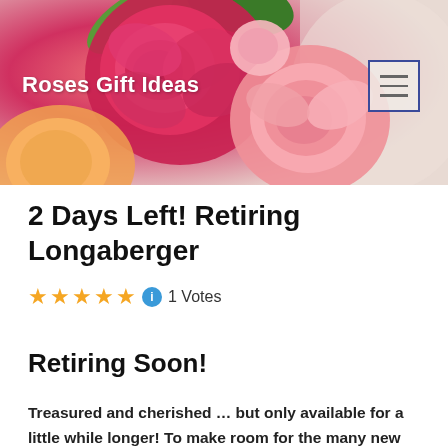[Figure (photo): Header banner with pink and red roses in bloom, with green leaves visible. Background transitions to a beige/cream color on the right side.]
Roses Gift Ideas
2 Days Left! Retiring Longaberger
★★★★★ ℹ 1 Votes
Retiring Soon!
Treasured and cherished … but only available for a little while longer! To make room for the many new wonderful products we will offer in our Spring WishList® beginning